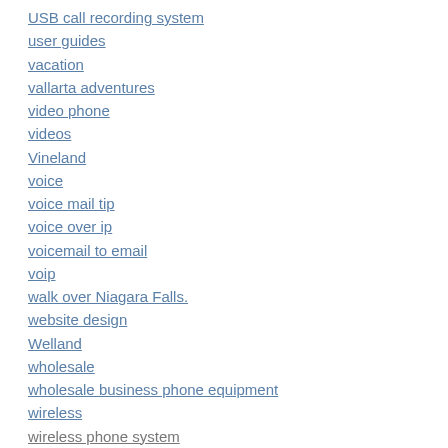USB call recording system
user guides
vacation
vallarta adventures
video phone
videos
Vineland
voice
voice mail tip
voice over ip
voicemail to email
voip
walk over Niagara Falls.
website design
Welland
wholesale
wholesale business phone equipment
wireless
wireless phone system